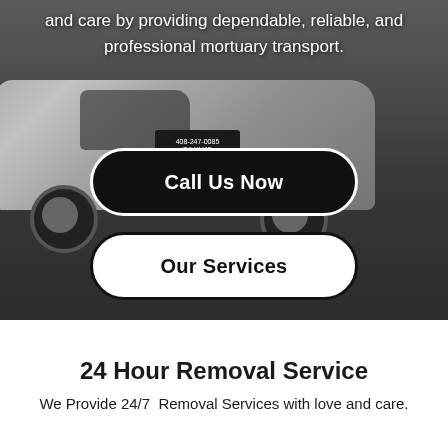[Figure (photo): A silver/white van (mortuary transport vehicle) parked in a parking lot, viewed from the side. The background is dark asphalt. There appears to be a company sign/magnet on the vehicle door.]
and care by providing dependable, reliable, and professional mortuary transport.
Call Us Now
Our Services
24 Hour Removal Service
We Provide 24/7  Removal Services with love and care.